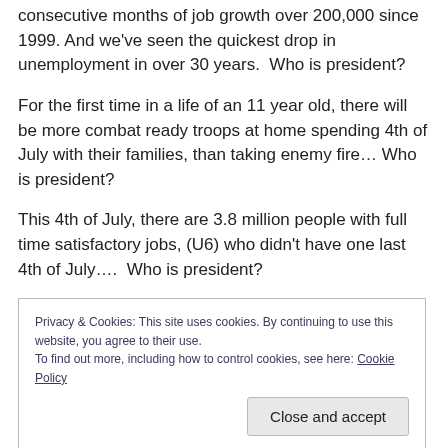consecutive months of job growth over 200,000 since 1999. And we've seen the quickest drop in unemployment in over 30 years.  Who is president?
For the first time in a life of an 11 year old, there will be more combat ready troops at home spending 4th of July with their families, than taking enemy fire… Who is president?
This 4th of July, there are 3.8 million people with full time satisfactory jobs, (U6) who didn't have one last 4th of July….  Who is president?
Privacy & Cookies: This site uses cookies. By continuing to use this website, you agree to their use. To find out more, including how to control cookies, see here: Cookie Policy